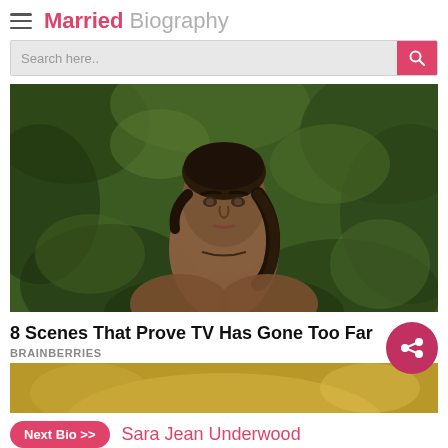Married Biography
[Figure (photo): Woman with braided dark hair standing in front of lush green tropical foliage, looking directly at camera]
8 Scenes That Prove TV Has Gone Too Far
BRAINBERRIES
[Figure (photo): Partial view of a second article thumbnail showing golden/yellow tones]
Next Bio >> Sara Jean Underwood